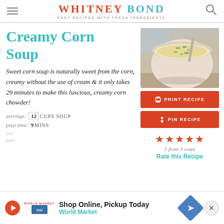WHITNEY BOND — EASY RECIPES WITH FRESH INGREDIENTS
Creamy Corn Soup
[Figure (photo): Bowl of creamy corn soup topped with green onions and sesame seeds, with a spoon, on a fabric background]
Sweet corn soup is naturally sweet from the corn, creamy without the use of cream & it only takes 29 minutes to make this luscious, creamy corn chowder!
PRINT RECIPE
PIN RECIPE
★★★★★ 5 from 3 votes
Rate this Recipe
servings: 12 CUPS SOUP
prep time: 9 MINS
Shop Online, Pickup Today — World Market (advertisement)